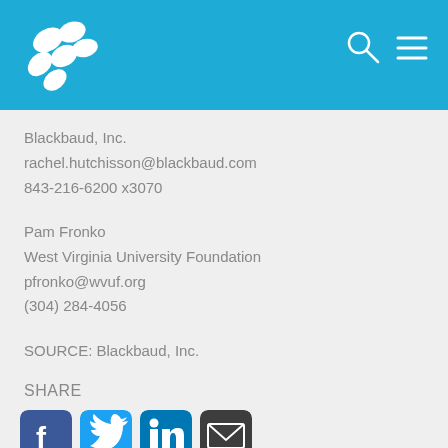[Figure (logo): Blackbaud logo with white snowflake/dots icon on blue header bar with search and menu icons]
Blackbaud, Inc.
rachel.hutchisson@blackbaud.com
843-216-6200 x3070
Pam Fronko
West Virginia University Foundation
pfronko@wvuf.org
(304) 284-4056
SOURCE: Blackbaud, Inc.
SHARE
[Figure (illustration): Social sharing icons: Facebook (blue), Twitter (light blue), LinkedIn (blue), Email (dark/black)]